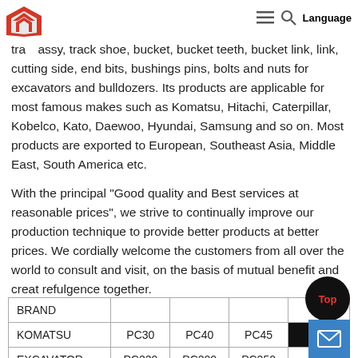Language
parts such as track rollers, top rollers, sprockets, segments, idler assy, track assy, track shoe, bucket, bucket teeth, bucket link, link, cutting side, end bits, bushings pins, bolts and nuts for excavators and bulldozers. Its products are applicable for most famous makes such as Komatsu, Hitachi, Caterpillar, Kobelco, Kato, Daewoo, Hyundai, Samsung and so on. Most products are exported to European, Southeast Asia, Middle East, South America etc.
With the principal "Good quality and Best services at reasonable prices", we strive to continually improve our production technique to provide better products at better prices. We cordially welcome the customers from all over the world to consult and visit, on the basis of mutual benefit and creat refulgence together.
| BRAND |  |  |  |  |
| --- | --- | --- | --- | --- |
| KOMATSU | PC30 | PC40 | PC45 |  |
| EXCAVATOR | PC220 | PC200 | PC250 | PC |